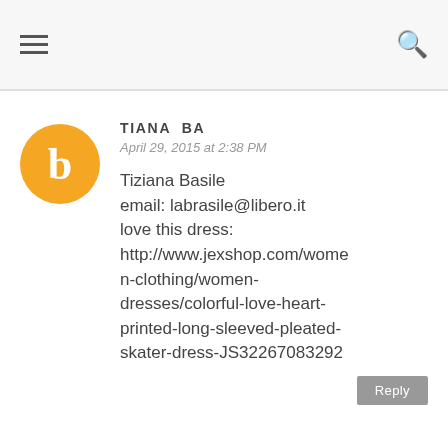≡  🔍
TIANA BA
April 29, 2015 at 2:38 PM
Tiziana Basile
email: labrasile@libero.it
love this dress:
http://www.jexshop.com/women-clothing/women-dresses/colorful-love-heart-printed-long-sleeved-pleated-skater-dress-JS32267083292
Reply